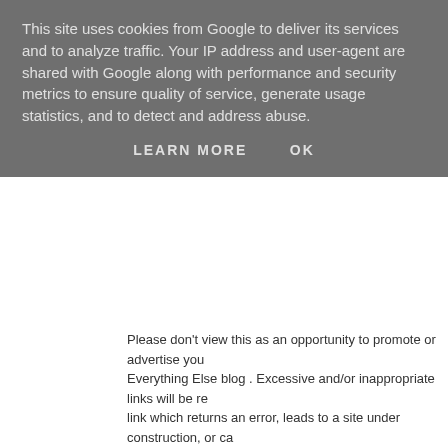This site uses cookies from Google to deliver its services and to analyze traffic. Your IP address and user-agent are shared with Google along with performance and security metrics to ensure quality of service, generate usage statistics, and to detect and address abuse.
LEARN MORE   OK
Please don't view this as an opportunity to promote or advertise you Everything Else blog . Excessive and/or inappropriate links will be re link which returns an error, leads to a site under construction, or ca
Signatures in Comments
Adding a signature is completely optional. If you decide to include o do not include a link to your website.  You are welcome to add your below your name and e-mail address and your name will automatica
Unacceptable:
Person B. A.N. Other
Owner of a Website
http://www.awebsite.co.uk
Please visit our website.
Acceptable
Person B. A.N. Other
Owner of a Website
Subscribing To Comments Via E-mail
For you to receive notification of comments left after yours, it is esse